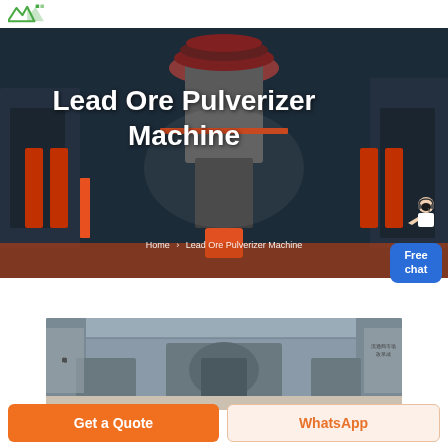Logo / navigation header
Lead Ore Pulverizer Machine
Home > Lead Ore Pulverizer Machine
[Figure (illustration): Free chat customer service widget — blue rounded box with text 'Free chat' and a female customer service representative icon above it]
[Figure (photo): Industrial factory interior showing pulverizer / milling machines in a large hall with Chinese text banners on the sides]
Get a Quote
WhatsApp